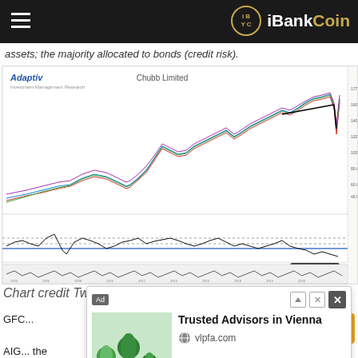iBankCoin
assets; the majority allocated to bonds (credit risk).
[Figure (continuous-plot): Chubb Limited (CB) stock chart with multi-colored lines showing price history, relative strength vs SPX (CB vs. SPX), and a bottom volatility/comparison panel. Chart created by Adaptiv Investment Management Research and Optuma software. Chart credit Twitter: @the_chart_life]
Chart credit Twitter; @the_chart_life
GFC...
AIG... the stre... the sum... us,